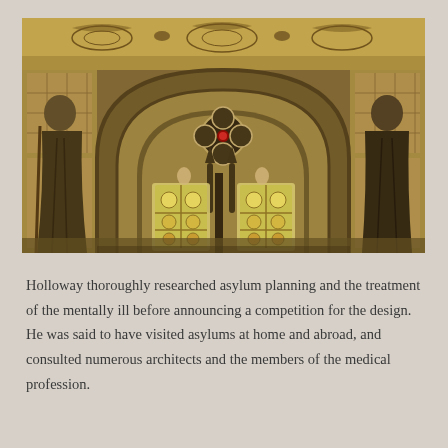[Figure (photo): Interior photograph of a Gothic Revival architectural space featuring an ornate pointed arch with intricate carved and gilded decorative motifs, stained glass windows with geometric patterns at the base, two large figures/statues in robes on either side, and elaborate floral and animal scrollwork on the walls and vaulted ceiling.]
Holloway thoroughly researched asylum planning and the treatment of the mentally ill before announcing a competition for the design. He was said to have visited asylums at home and abroad, and consulted numerous architects and the members of the medical profession.